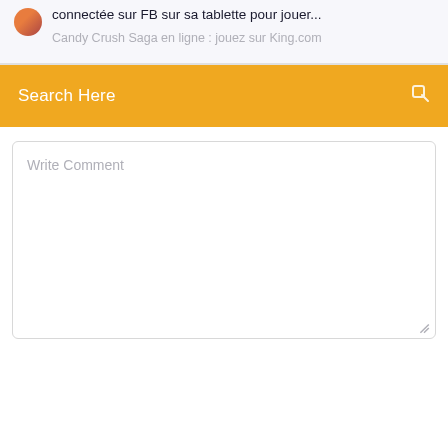connectée sur FB sur sa tablette pour jouer...
Candy Crush Saga en ligne : jouez sur King.com
Search Here
Write Comment